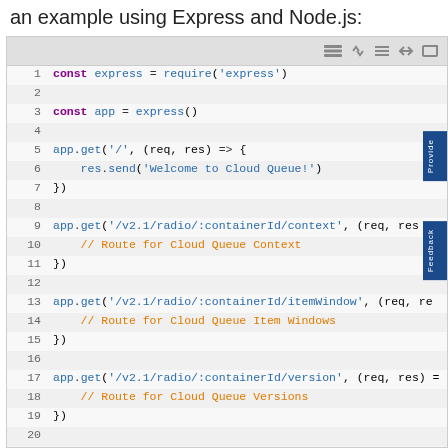an example using Express and Node.js:
[Figure (screenshot): Code editor screenshot showing Node.js/Express route definitions with syntax highlighting. Lines 1-21 are visible. Line 1: const express = require('express'), Line 3: const app = express(), Lines 5-7: app.get route for '/', Lines 9-11: app.get route for '/v2.1/radio/:containerId/context', Lines 13-15: app.get route for '/v2.1/radio/:containerId/itemWindow', Lines 17-19: app.get route for '/v2.1/radio/:containerId/version', Line 21: app.post route for '/v2.1/radio/:containerId/timePlayed']